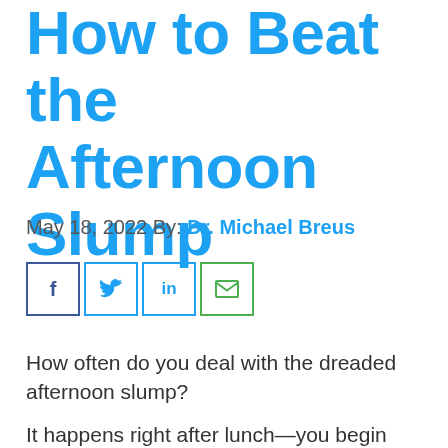How to Beat the Afternoon Slump
May 18, 2022 By: Dr. Michael Breus
[Figure (other): Social share buttons for Facebook, Twitter, LinkedIn, and Email]
How often do you deal with the dreaded afternoon slump?
It happens right after lunch—you begin